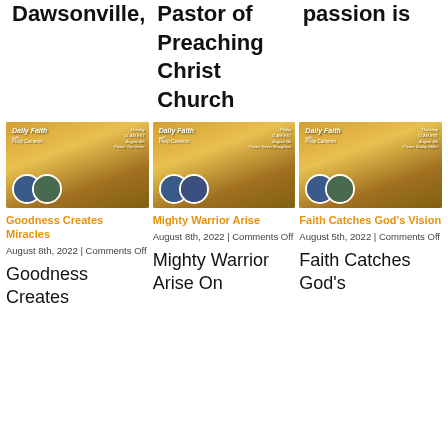Dawsonville,
Pastor of Preaching Christ Church
passion is
[Figure (photo): Daily Faith with Philip Cameron thumbnail showing two people and schedule for Monday August 8th]
Goodness Creates Miracles
August 8th, 2022 | Comments Off
Goodness Creates
[Figure (photo): Daily Faith with Philip Cameron thumbnail showing two people and schedule for Friday August 5th]
Mighty Warrior Arise
August 8th, 2022 | Comments Off
Mighty Warrior Arise On
[Figure (photo): Daily Faith with Philip Cameron thumbnail showing two people and schedule for Thursday August 4th]
Faith Catches God's Vision
August 5th, 2022 | Comments Off
Faith Catches God's